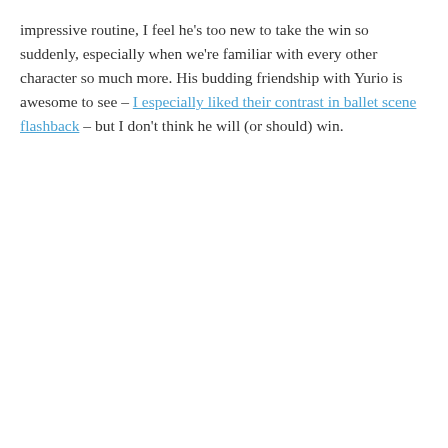impressive routine, I feel he's too new to take the win so suddenly, especially when we're familiar with every other character so much more. His budding friendship with Yurio is awesome to see – I especially liked their contrast in ballet scene flashback – but I don't think he will (or should) win.